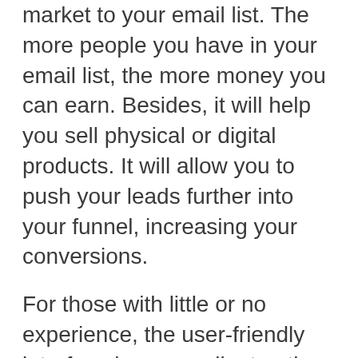market to your email list. The more people you have in your email list, the more money you can earn. Besides, it will help you sell physical or digital products. It will allow you to push your leads further into your funnel, increasing your conversions.
For those with little or no experience, the user-friendly interface is an excellent option for beginners. Groove’s intuitive interface makes it much easier to create welcome pages for your website. Groove offers numerous help articles and live chat support. This allows you to focus on creating a product or service that is attractive. The platform is not perfect but it does have many features that are essential for marketers.